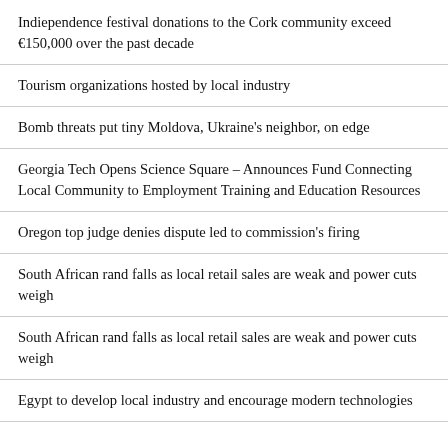Indiependence festival donations to the Cork community exceed €150,000 over the past decade
Tourism organizations hosted by local industry
Bomb threats put tiny Moldova, Ukraine's neighbor, on edge
Georgia Tech Opens Science Square – Announces Fund Connecting Local Community to Employment Training and Education Resources
Oregon top judge denies dispute led to commission's firing
South African rand falls as local retail sales are weak and power cuts weigh
South African rand falls as local retail sales are weak and power cuts weigh
Egypt to develop local industry and encourage modern technologies